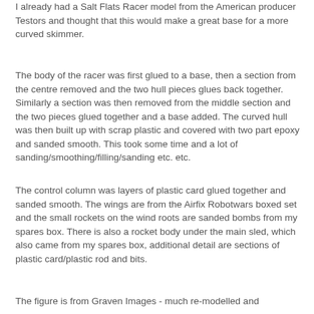I already had a Salt Flats Racer model from the American producer Testors and thought that this would make a great base for a more curved skimmer.
The body of the racer was first glued to a base, then a section from the centre removed and the two hull pieces glues back together. Similarly a section was then removed from the middle section and the two pieces glued together and a base added. The curved hull was then built up with scrap plastic and covered with two part epoxy and sanded smooth. This took some time and a lot of sanding/smoothing/filling/sanding etc. etc.
The control column was layers of plastic card glued together and sanded smooth. The wings are from the Airfix Robotwars boxed set and the small rockets on the wind roots are sanded bombs from my spares box. There is also a rocket body under the main sled, which also came from my spares box, additional detail are sections of plastic card/plastic rod and bits.
The figure is from Graven Images - much re-modelled and